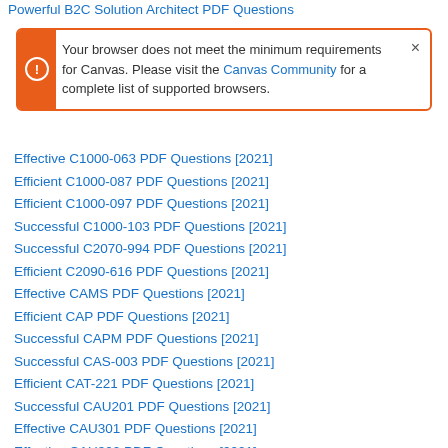Powerful B2C Solution Architect PDF Questions
Your browser does not meet the minimum requirements for Canvas. Please visit the Canvas Community for a complete list of supported browsers.
Effective C1000-063 PDF Questions [2021]
Efficient C1000-087 PDF Questions [2021]
Efficient C1000-097 PDF Questions [2021]
Successful C1000-103 PDF Questions [2021]
Successful C2070-994 PDF Questions [2021]
Efficient C2090-616 PDF Questions [2021]
Effective CAMS PDF Questions [2021]
Efficient CAP PDF Questions [2021]
Successful CAPM PDF Questions [2021]
Successful CAS-003 PDF Questions [2021]
Efficient CAT-221 PDF Questions [2021]
Successful CAU201 PDF Questions [2021]
Effective CAU301 PDF Questions [2021]
Effective CAU302 PDF Questions [2021]